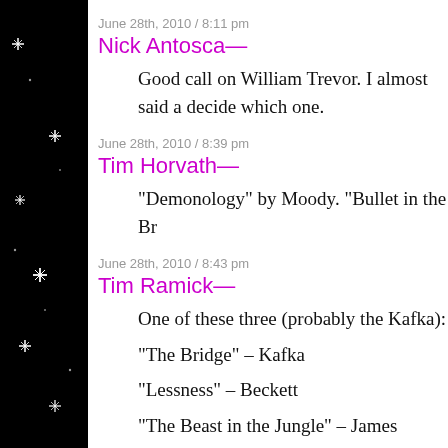June 28th, 2010 / 8:11 pm
Nick Antosca—
Good call on William Trevor. I almost said a decide which one.
June 28th, 2010 / 8:39 pm
Tim Horvath—
“Demonology” by Moody. “Bullet in the Br
June 28th, 2010 / 8:43 pm
Tim Ramick—
One of these three (probably the Kafka):
“The Bridge” – Kafka
“Lessness” – Beckett
“The Beast in the Jungle” – James